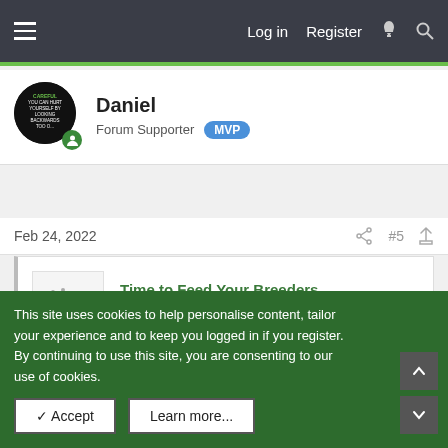Log in  Register
[Figure (other): Forum user avatar: black circular image with green text 'CAREFUL YOU CAN HURT YOURSELF BY LOOKING BACKWARDS TOO O...' with a green user icon badge]
Daniel
Forum Supporter  MVP
Feb 24, 2022  #5
[Figure (other): Link preview card with dotted thumbnail image for 'Time to Feed Your Breeders' from OMAF Livestock at www.omafra.gov.on.ca]
Time to Feed Your Breeders
OMAF Livestock
www.omafra.gov.on.ca
What is the optimum time of day to feed growing and adult hens and roosters? As with most questions, the answer is "it...
This site uses cookies to help personalise content, tailor your experience and to keep you logged in if you register.
By continuing to use this site, you are consenting to our use of cookies.